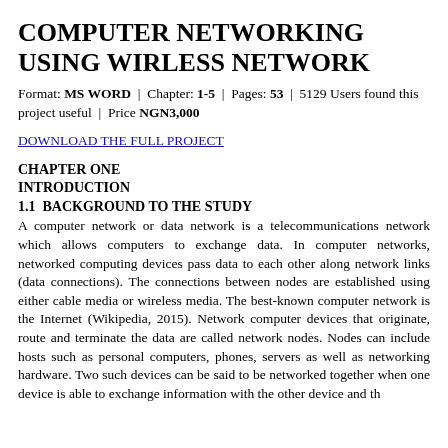COMPUTER NETWORKING USING WIRLESS NETWORK
Format: MS WORD | Chapter: 1-5 | Pages: 53 | 5129 Users found this project useful | Price NGN3,000
DOWNLOAD THE FULL PROJECT
CHAPTER ONE
INTRODUCTION
1.1  BACKGROUND TO THE STUDY
A computer network or data network is a telecommunications network which allows computers to exchange data. In computer networks, networked computing devices pass data to each other along network links (data connections). The connections between nodes are established using either cable media or wireless media. The best-known computer network is the Internet (Wikipedia, 2015). Network computer devices that originate, route and terminate the data are called network nodes. Nodes can include hosts such as personal computers, phones, servers as well as networking hardware. Two such devices can be said to be networked together when one device is able to exchange information with the other device and the